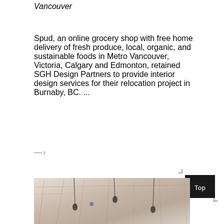Vancouver
Spud, an online grocery shop with free home delivery of fresh produce, local, organic, and sustainable foods in Metro Vancouver, Victoria, Calgary and Edmonton, retained SGH Design Partners to provide interior design services for their relocation project in Burnaby, BC. ...
→
[Figure (photo): Interior photo showing ceiling with pendant lights and exposed structural elements]
Top